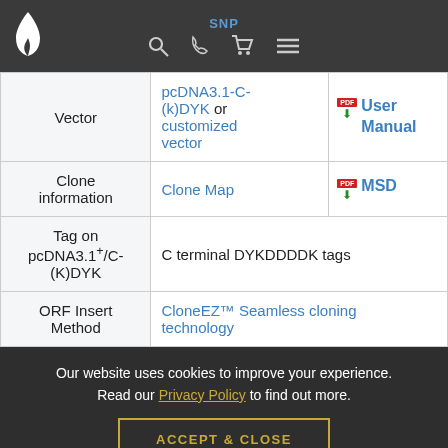SNP
|  | Content | Documents |
| --- | --- | --- |
| Vector | pcDNA3.1-C-(k)DYK or customized vector | User Manual |
| Clone information | Clone Map | MSD |
| Tag on pcDNA3.1+/C-(K)DYK | C terminal DYKDDDDK tags |  |
| ORF Insert Method | CloneEZ™ Seamless cloning technology |  |
Our website uses cookies to improve your experience. Read our Privacy Policy to find out more.
ACCEPT & CLOSE